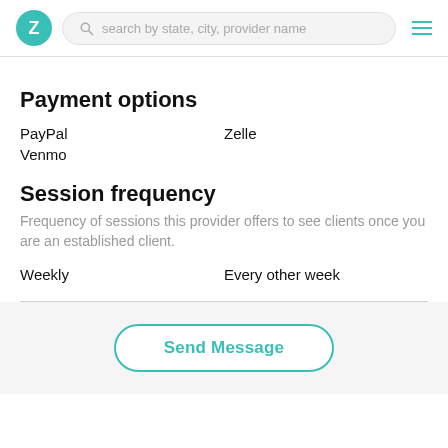Z | search by state, city, provider name
Payment options
PayPal
Zelle
Venmo
Session frequency
Frequency of sessions this provider offers to see clients once you are an established client.
Weekly
Every other week
Send Message